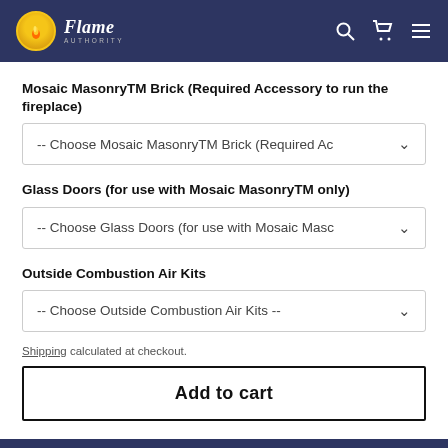Flame Authority
Mosaic MasonryTM Brick (Required Accessory to run the fireplace)
-- Choose Mosaic MasonryTM Brick (Required Ac
Glass Doors (for use with Mosaic MasonryTM only)
-- Choose Glass Doors (for use with Mosaic Masc
Outside Combustion Air Kits
-- Choose Outside Combustion Air Kits --
Shipping calculated at checkout.
Add to cart